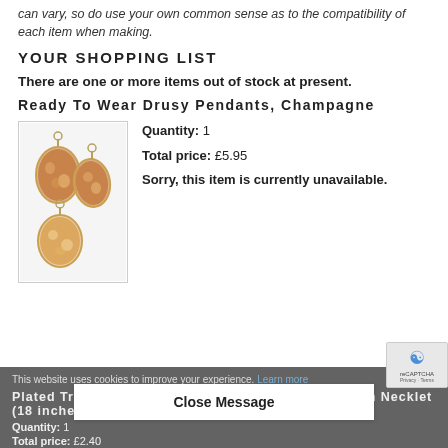can vary, so do use your own common sense as to the compatibility of each item when making.
YOUR SHOPPING LIST
There are one or more items out of stock at present.
Ready To Wear Drusy Pendants, Champagne
[Figure (photo): Three champagne-colored drusy pendants with gold-tone settings displayed against a white background.]
Quantity: 1
Total price: £5.95

Sorry, this item is currently unavailable.
This website uses cookies to improve your experience. Learn more  Privacy - Terms
Plated Trace Chain, 45cm Necklet, Gold plated, 45cm Necklet (18 inches)
Quantity: 1
Total price: £2.40
Close Message